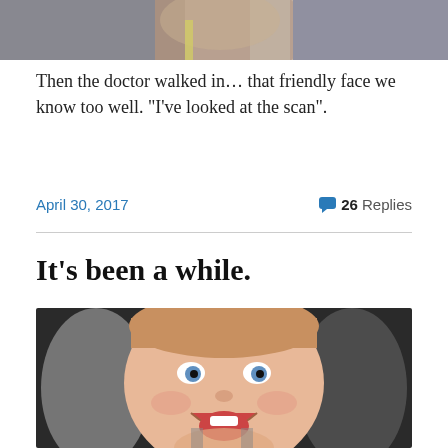[Figure (photo): Partial photo of a person, cropped at top of page]
Then the doctor walked in… that friendly face we know too well. “I’ve looked at the scan”.
April 30, 2017   26 Replies
It’s been a while.
[Figure (photo): Photo of a smiling toddler in a car seat, looking upward with mouth open and blue eyes]